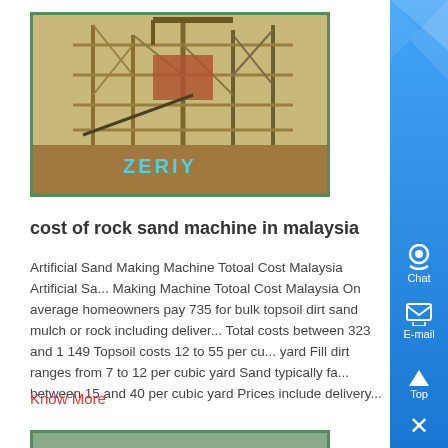[Figure (photo): Industrial scaffolding/mining machine structure with ZERIY branding text in cyan]
cost of rock sand machine in malaysia
Artificial Sand Making Machine Totoal Cost Malaysia Artificial Sand Making Machine Totoal Cost Malaysia On average homeowners pay 735 for bulk topsoil dirt sand mulch or rock including delivery Total costs between 323 and 1 149 Topsoil costs 12 to 55 per cubic yard Fill dirt ranges from 7 to 12 per cubic yard Sand typically falls between 15 and 40 per cubic yard Prices include delivery...
Know More
[Figure (photo): Aerial or ground view of construction/paving equipment on a road or site]